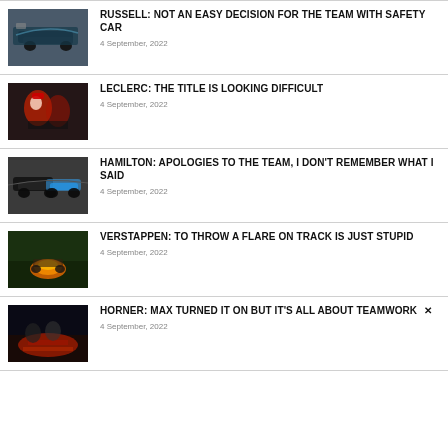RUSSELL: NOT AN EASY DECISION FOR THE TEAM WITH SAFETY CAR — 4 September, 2022
LECLERC: THE TITLE IS LOOKING DIFFICULT — 4 September, 2022
HAMILTON: APOLOGIES TO THE TEAM, I DON'T REMEMBER WHAT I SAID — 4 September, 2022
VERSTAPPEN: TO THROW A FLARE ON TRACK IS JUST STUPID — 4 September, 2022
HORNER: MAX TURNED IT ON BUT IT'S ALL ABOUT TEAMWORK — 4 September, 2022